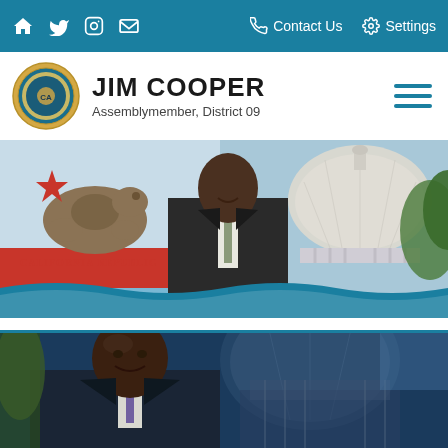Navigation bar with home, Twitter, Instagram, email icons; Contact Us; Settings
JIM COOPER
Assemblymember, District 09
[Figure (photo): Hero banner showing California Republic flag on the left, Jim Cooper smiling in a dark suit in the center, and the California State Capitol dome on the right, with a teal wave swoosh at the bottom]
[Figure (photo): Close-up photo of Jim Cooper smiling, wearing a dark suit with purple tie, with the California State Capitol dome visible in the background on a blue-tinted overlay]